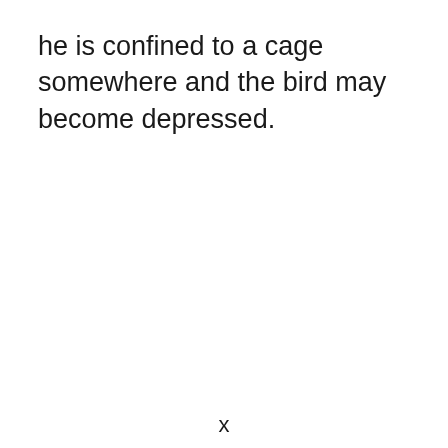he is confined to a cage somewhere and the bird may become depressed.
x